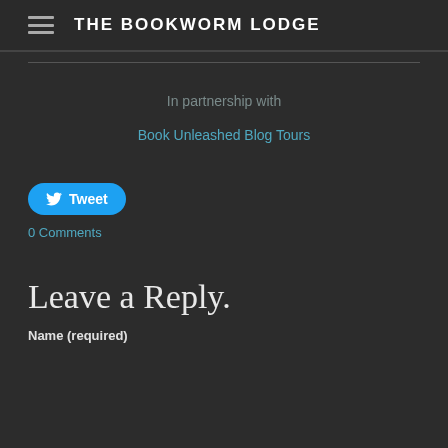THE BOOKWORM LODGE
In partnership with
Book Unleashed Blog Tours
[Figure (other): Tweet button with Twitter bird icon]
0 Comments
Leave a Reply.
Name (required)